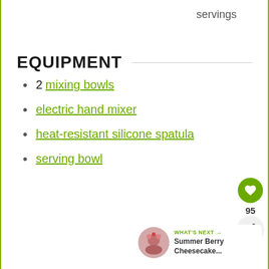servings
EQUIPMENT
2 mixing bowls
electric hand mixer
heat-resistant silicone spatula
serving bowl
95
WHAT'S NEXT → Summer Berry Cheesecake...